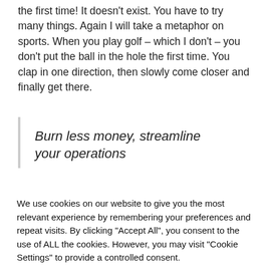the first time! It doesn't exist. You have to try many things. Again I will take a metaphor on sports. When you play golf – which I don't – you don't put the ball in the hole the first time. You clap in one direction, then slowly come closer and finally get there.
Burn less money, streamline your operations
We use cookies on our website to give you the most relevant experience by remembering your preferences and repeat visits. By clicking "Accept All", you consent to the use of ALL the cookies. However, you may visit "Cookie Settings" to provide a controlled consent.